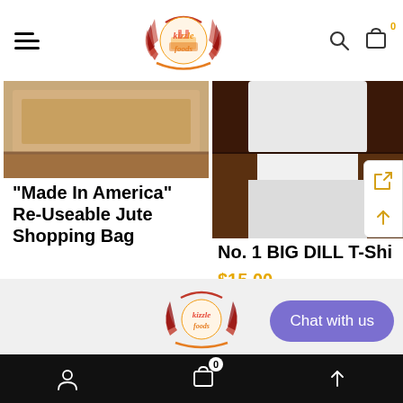[Figure (logo): Kizzle Foods circular logo with wheat stalks and gradient red-orange text]
[Figure (photo): Brown jute fabric shopping bag product image]
“Made In America” Re-Useable Jute Shopping Bag
$10.00
[Figure (photo): White T-shirt on dark wood surface product image]
No. 1 BIG DILL T-Shirt
$15.00
[Figure (logo): Kizzle Foods logo partial in footer area]
Chat with us
0 (cart icon) user icon navigation bar